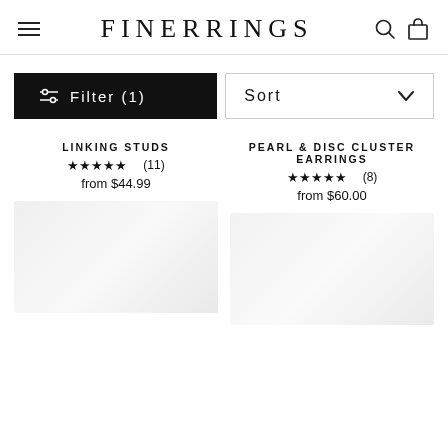FINERRINGS
Filter (1)
Sort
LINKING STUDS
4.9/5 stars (11)
from $44.99
PEARL & DISC CLUSTER EARRINGS
5/5 stars (8)
from $60.00
[Figure (photo): Product image placeholder for earrings]
[Figure (photo): Product image placeholder for Pearl & Disc Cluster Earrings]